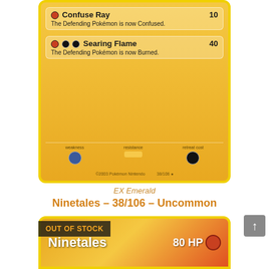[Figure (photo): Pokemon card for Ninetales 38/106 from EX Emerald set, showing move details: Confuse Ray (10 damage) and Searing Flame (40 damage), with stats at the bottom including weakness, resistance, and retreat cost icons. Yellow border card.]
EX Emerald
Ninetales – 38/106 – Uncommon
€2.00
Read more
[Figure (photo): Second Pokemon card image showing Ninetales with 80 HP and fire type icon, partially visible at bottom. OUT OF STOCK badge displayed.]